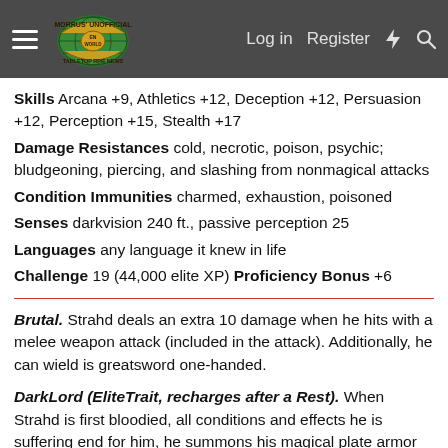Morrus' Unofficial Tabletop RPG News — Log in | Register
Skills Arcana +9, Athletics +12, Deception +12, Persuasion +12, Perception +15, Stealth +17
Damage Resistances cold, necrotic, poison, psychic; bludgeoning, piercing, and slashing from nonmagical attacks
Condition Immunities charmed, exhaustion, poisoned
Senses darkvision 240 ft., passive perception 25
Languages any language it knew in life
Challenge 19 (44,000 elite XP) Proficiency Bonus +6
Brutal. Strahd deals an extra 10 damage when he hits with a melee weapon attack (included in the attack). Additionally, he can wield is greatsword one-handed.
DarkLord (EliteTrait, recharges after a Rest). When Strahd is first bloodied, all conditions and effects he is suffering end for him, he summons his magical plate armor